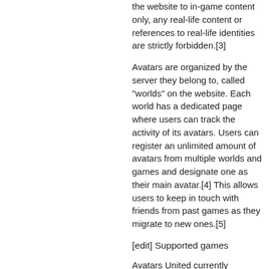the website to in-game content only, any real-life content or references to real-life identities are strictly forbidden.[3]
Avatars are organized by the server they belong to, called "worlds" on the website. Each world has a dedicated page where users can track the activity of its avatars. Users can register an unlimited amount of avatars from multiple worlds and games and designate one as their main avatar.[4] This allows users to keep in touch with friends from past games as they migrate to new ones.[5]
[edit] Supported games
Avatars United currently supports more than 30 popular games, among them Age Of Conan, EVE Online, EverQuest I